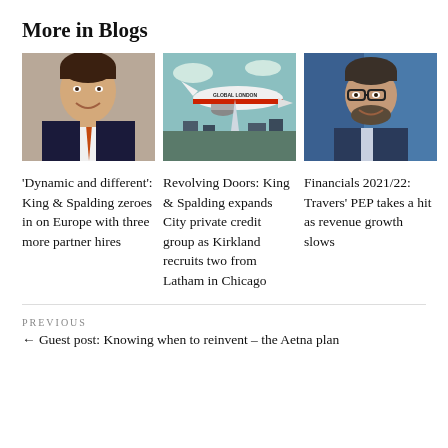More in Blogs
[Figure (photo): Professional headshot of a man in a dark suit with an orange tie]
'Dynamic and different': King & Spalding zeroes in on Europe with three more partner hires
[Figure (illustration): Illustration of a vintage airplane with 'Global London' text, flying over a cityscape with the Shard visible]
Revolving Doors: King & Spalding expands City private credit group as Kirkland recruits two from Latham in Chicago
[Figure (photo): Professional headshot of a man with glasses and a beard in a suit]
Financials 2021/22: Travers' PEP takes a hit as revenue growth slows
PREVIOUS
← Guest post: Knowing when to reinvent – the Aetna plan